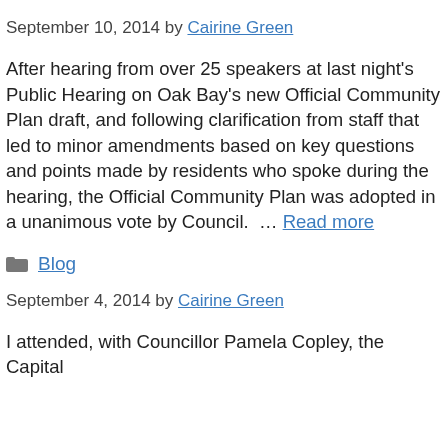September 10, 2014 by Cairine Green
After hearing from over 25 speakers at last night’s Public Hearing on Oak Bay’s new Official Community Plan draft, and following clarification from staff that led to minor amendments based on key questions and points made by residents who spoke during the hearing, the Official Community Plan was adopted in a unanimous vote by Council. … Read more
Blog
September 4, 2014 by Cairine Green
I attended, with Councillor Pamela Copley, the Capital